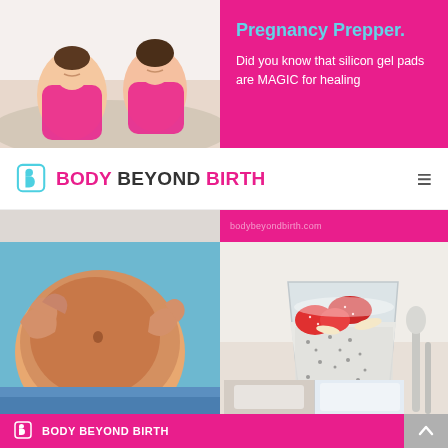[Figure (photo): Two women in pink tops sitting together, smiling and looking at something]
Pregnancy Prepper.
Did you know that silicon gel pads are MAGIC for healing
[Figure (logo): Body Beyond Birth logo with teal icon and pink/dark text]
[Figure (photo): Close-up of pregnant belly with hands]
[Figure (photo): Chia pudding in a glass topped with strawberries and almond slices]
[Figure (logo): Body Beyond Birth footer logo in white on pink background]